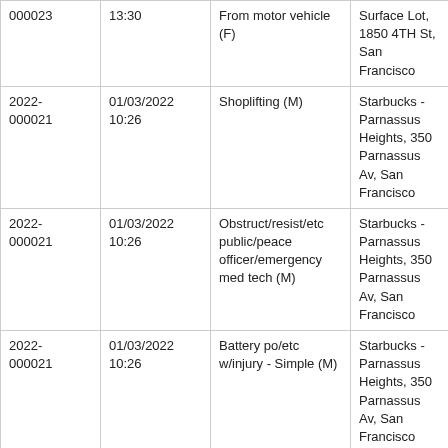| Case Number | Date/Time | Offense | Location |
| --- | --- | --- | --- |
| 000023 | 13:30 | From motor vehicle (F) | Surface Lot, 1850 4TH St, San Francisco |
| 2022-000021 | 01/03/2022 10:26 | Shoplifting (M) | Starbucks - Parnassus Heights, 350 Parnassus Av, San Francisco |
| 2022-000021 | 01/03/2022 10:26 | Obstruct/resist/etc public/peace officer/emergency med tech (M) | Starbucks - Parnassus Heights, 350 Parnassus Av, San Francisco |
| 2022-000021 | 01/03/2022 10:26 | Battery po/etc w/injury - Simple (M) | Starbucks - Parnassus Heights, 350 Parnassus Av, San Francisco |
| 2022- | 01/03/2022 | Give false id to po - False pretenses/swindle/confidence | Starbucks - Parnassus Heights, 350 |